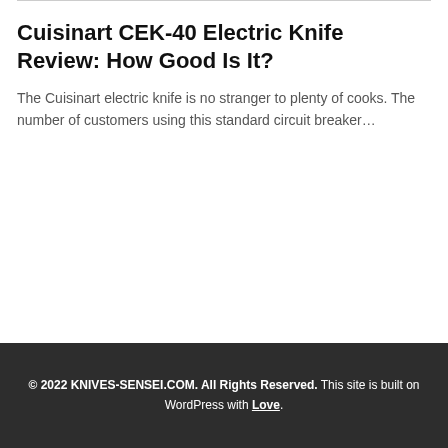Cuisinart CEK-40 Electric Knife Review: How Good Is It?
The Cuisinart electric knife is no stranger to plenty of cooks. The number of customers using this standard circuit breaker…
© 2022 KNIVES-SENSEI.COM. All Rights Reserved. This site is built on WordPress with Love.